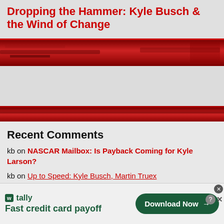Dropping the Hammer: Kyle Busch & the Wind of Change
[Figure (photo): Red-tinted NASCAR racetrack grandstand banner image]
[Figure (photo): Second red-tinted NASCAR racetrack banner image]
Recent Comments
kb on NASCAR Mailbox: Is Payback Coming for Kyle Larson?
kb on Up to Speed: Kyle Busch, Martin Truex
[Figure (infographic): Tally advertisement: Fast credit card payoff, Download Now button]